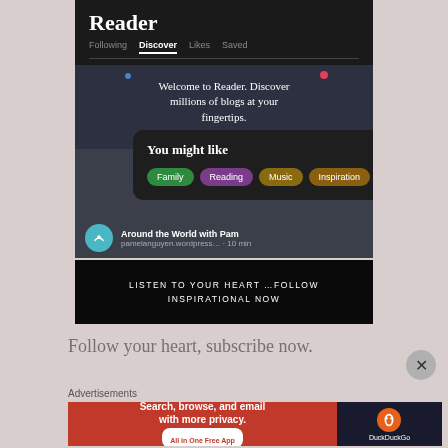[Figure (screenshot): WordPress Reader app screenshot showing the Discover tab with 'Welcome to Reader. Discover millions of blogs at your fingertips.' text, a 'You might like' popup with category tags: Family, Reading, Music, Inspiration, and a blog entry 'Around the World with Pam']
LISTEN TO YOUR HEART ...FOLLOW INSPIRATIONAL NOW
Follow your heart, subscribe now.
Advertisements
[Figure (infographic): DuckDuckGo advertisement banner: 'Search, browse, and email with more privacy. All in One Free App' with DuckDuckGo logo on dark right panel]